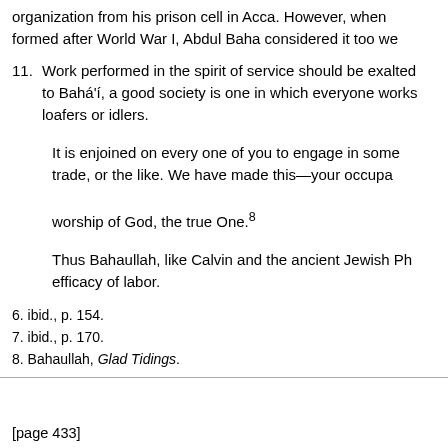organization from his prison cell in Acca. However, when formed after World War I, Abdul Baha considered it too we
11. Work performed in the spirit of service should be exalted to Bahá'í, a good society is one in which everyone works loafers or idlers.
It is enjoined on every one of you to engage in some trade, or the like. We have made this—your occupa worship of God, the true One.8
Thus Bahaullah, like Calvin and the ancient Jewish Ph efficacy of labor.
6. ibid., p. 154.
7. ibid., p. 170.
8. Bahaullah, Glad Tidings.
[page 433]